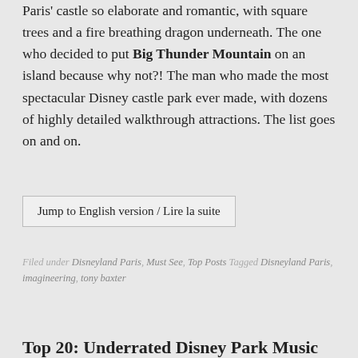Paris' castle so elaborate and romantic, with square trees and a fire breathing dragon underneath. The one who decided to put Big Thunder Mountain on an island because why not?! The man who made the most spectacular Disney castle park ever made, with dozens of highly detailed walkthrough attractions. The list goes on and on.
Jump to English version / Lire la suite
Filed under Disneyland Paris, Must See, Top Posts Tagged Disneyland Paris, imagineering, tony baxter
Top 20: Underrated Disney Park Music